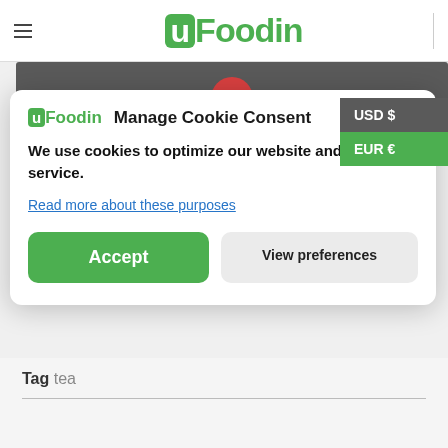uFoodin
Manage Cookie Consent
We use cookies to optimize our website and our service.
Read more about these purposes
Accept
View preferences
USD $
EUR €
Tag tea